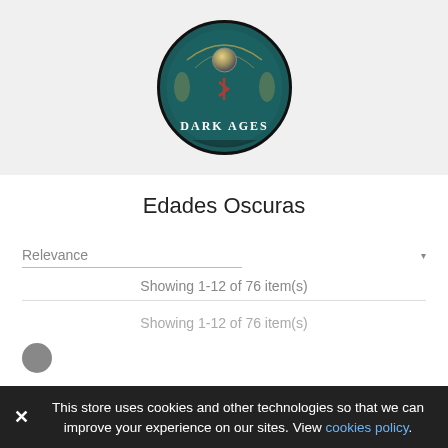[Figure (illustration): Dark Ages product logo — circular badge with teal/dark green background, decorative Norse-style artwork, central metallic orb, and text 'DARK AGES' at the bottom in uppercase serif font.]
Edades Oscuras
Relevance ▾
Showing 1-12 of 76 item(s)
Showing 1-12 of 76 item(s)
This store uses cookies and other technologies so that we can improve your experience on our sites. View cookies policy.